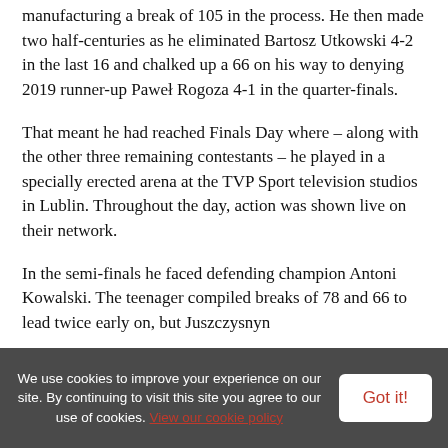manufacturing a break of 105 in the process. He then made two half-centuries as he eliminated Bartosz Utkowski 4-2 in the last 16 and chalked up a 66 on his way to denying 2019 runner-up Paweł Rogoza 4-1 in the quarter-finals.
That meant he had reached Finals Day where – along with the other three remaining contestants – he played in a specially erected arena at the TVP Sport television studios in Lublin. Throughout the day, action was shown live on their network.
In the semi-finals he faced defending champion Antoni Kowalski. The teenager compiled breaks of 78 and 66 to lead twice early on, but Juszczysnyn
We use cookies to improve your experience on our site. By continuing to visit this site you agree to our use of cookies. View our cookie policy